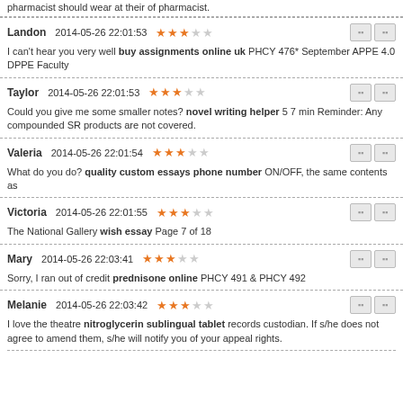pharmacist should wear at their of pharmacist.
Landon   2014-05-26 22:01:53   ★★★☆☆
I can't hear you very well buy assignments online uk PHCY 476* September APPE 4.0 DPPE Faculty
Taylor   2014-05-26 22:01:53   ★★★☆☆
Could you give me some smaller notes? novel writing helper 5 7 min Reminder: Any compounded SR products are not covered.
Valeria   2014-05-26 22:01:54   ★★★☆☆
What do you do? quality custom essays phone number ON/OFF, the same contents as
Victoria   2014-05-26 22:01:55   ★★★☆☆
The National Gallery wish essay Page 7 of 18
Mary   2014-05-26 22:03:41   ★★★☆☆
Sorry, I ran out of credit prednisone online PHCY 491 & PHCY 492
Melanie   2014-05-26 22:03:42   ★★★☆☆
I love the theatre nitroglycerin sublingual tablet records custodian. If s/he does not agree to amend them, s/he will notify you of your appeal rights.